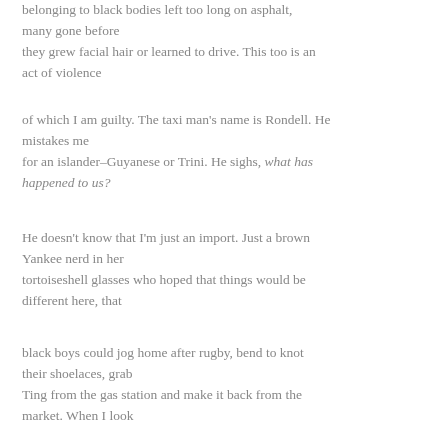belonging to black bodies left too long on asphalt, many gone before they grew facial hair or learned to drive. This too is an act of violence
of which I am guilty. The taxi man's name is Rondell. He mistakes me for an islander–Guyanese or Trini. He sighs, what has happened to us?
He doesn't know that I'm just an import. Just a brown Yankee nerd in her tortoiseshell glasses who hoped that things would be different here, that
black boys could jog home after rugby, bend to knot their shoelaces, grab Ting from the gas station and make it back from the market. When I look